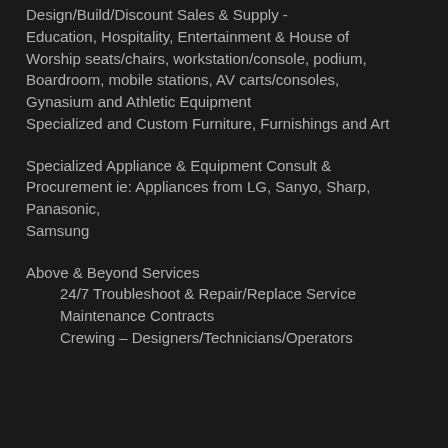Design/Build/Discount Sales & Supply - Education, Hospitality, Entertainment & House of Worship seats/chairs, workstation/console, podium, Boardroom, mobile stations, AV carts/consoles, Gynasium and Athletic Equipment
Specialized and Custom Furniture, Furnishings and Art
Specialized Appliance & Equipment Consult & Procurement ie: Appliances from LG, Sanyo, Sharp, Panasonic,
Samsung
Above & Beyond Services
24/7 Troubleshoot & Repair/Replace Service
Maintenance Contracts
Crewing – Designers/Technicians/Operators